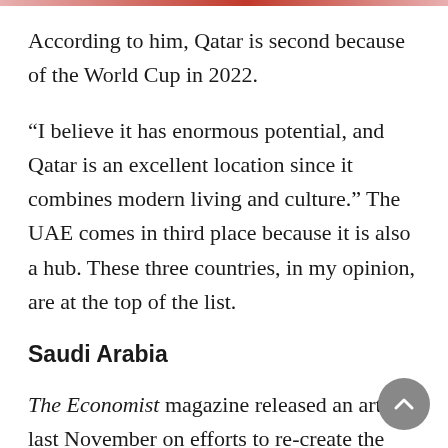According to him, Qatar is second because of the World Cup in 2022.
“I believe it has enormous potential, and Qatar is an excellent location since it combines modern living and culture.” The UAE comes in third place because it is also a hub. These three countries, in my opinion, are at the top of the list.
Saudi Arabia
The Economist magazine released an article last November on efforts to re-create the Saudi economy, stating that the Saudi Public